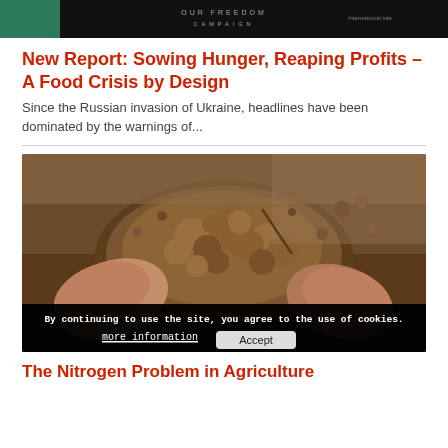[Figure (photo): Dark header banner image with logo text, teal/green accent on left side]
New Report: Sowing Hunger, Reaping Profits – A Food Crisis by Design
Since the Russian invasion of Ukraine, headlines have been dominated by the warnings of...
[Figure (photo): Close-up photo of a person's hands holding a clump of dark brown soil or dirt, with more soil/dirt in the background. A cookie consent bar overlays the bottom of the image reading: 'By continuing to use the site, you agree to the use of cookies.' with 'more information' and 'Accept' buttons.]
The Nitrogen Problem in Agriculture